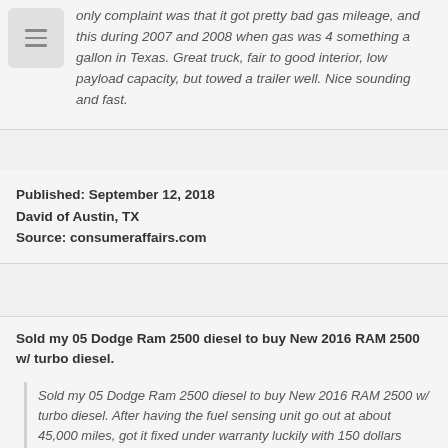only complaint was that it got pretty bad gas mileage, and this during 2007 and 2008 when gas was 4 something a gallon in Texas. Great truck, fair to good interior, low payload capacity, but towed a trailer well. Nice sounding and fast.
Published: September 12, 2018
David of Austin, TX
Source: consumeraffairs.com
Sold my 05 Dodge Ram 2500 diesel to buy New 2016 RAM 2500 w/ turbo diesel.
Sold my 05 Dodge Ram 2500 diesel to buy New 2016 RAM 2500 w/ turbo diesel. After having the fuel sensing unit go out at about 45,000 miles, got it fixed under warranty luckily with 150 dollars deposit. So here I am with 65000 miles, now its the turbo actuator part. A repair that is about 3100 dollars (Assuming it with...